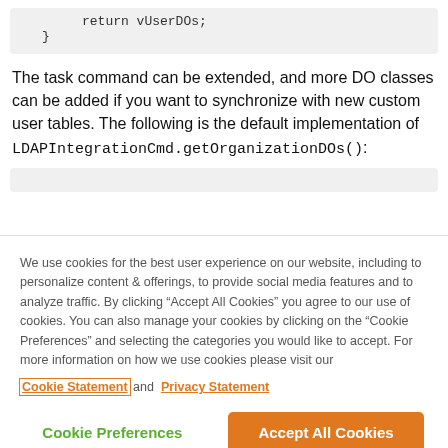[Figure (screenshot): Code block showing 'return vUserDOs;' and closing brace '}']
The task command can be extended, and more DO classes can be added if you want to synchronize with new custom user tables. The following is the default implementation of LDAPIntegrationCmd.getOrganizationDOs():
[Figure (screenshot): Partial code block (bottom cut off by cookie overlay)]
We use cookies for the best user experience on our website, including to personalize content & offerings, to provide social media features and to analyze traffic. By clicking “Accept All Cookies” you agree to our use of cookies. You can also manage your cookies by clicking on the “Cookie Preferences” and selecting the categories you would like to accept. For more information on how we use cookies please visit our Cookie Statement and Privacy Statement
Cookie Preferences
Accept All Cookies